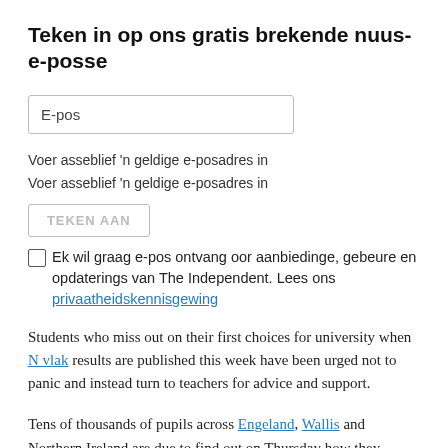Teken in op ons gratis brekende nuus-e-posse
E-pos
Voer asseblief 'n geldige e-posadres in
Voer asseblief 'n geldige e-posadres in
TEKEN AAN
Ek wil graag e-pos ontvang oor aanbiedinge, gebeure en opdaterings van The Independent. Lees ons privaatheidskennisgewing
Students who miss out on their first choices for university when N vlak results are published this week have been urged not to panic and instead turn to teachers for advice and support.
Tens of thousands of pupils across Engeland, Wallis and Northern Ireland are due to find out on Thursday how they